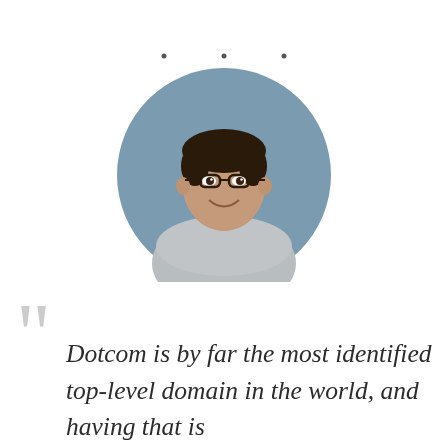[Figure (photo): Circular cropped headshot of a smiling man with glasses wearing a grey v-neck sweater, against a blue-grey background. Three small decorative dots appear above the photo.]
"Dotcom is by far the most identified top-level domain in the world, and having that is...